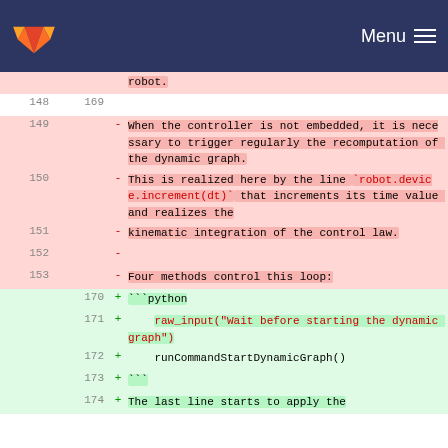GitLab navigation bar with logo and Menu
robot.
148  169
149 - When the controller is not embedded, it is necessary to trigger regularly the recomputation of the dynamic graph.
150 - This is realized here by the line `robot.device.increment(dt)` that increments its time value and realizes the
151 - kinematic integration of the control law.
152 -
153 - Four methods control this loop:
170 + ```python
171 +     raw_input("Wait before starting the dynamic graph")
172 +     runCommandStartDynamicGraph()
173 + ```
174 + The last line starts to apply the